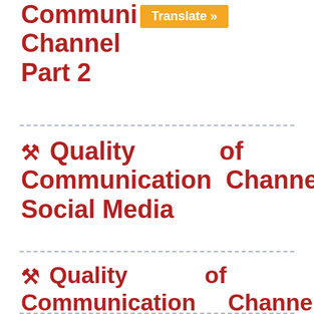… (…) Communication Channel Part 2
🔧 Quality of Communication Channel – Social Media
🔧 Quality of Communication Channel: Operator's Manuals